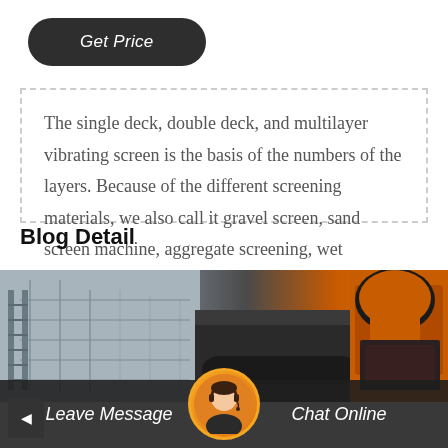Get Price
The single deck, double deck, and multilayer vibrating screen is the basis of the numbers of the layers. Because of the different screening materials, we also call it gravel screen, sand screen machine, aggregate screening, wet vibratory…
Blog Detail
[Figure (photo): Photograph of industrial vibrating screen machinery with orange and dark metal components]
Leave Message
Chat Online